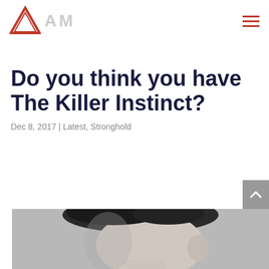[Figure (logo): Red triangle/arrow logo with large gray AM letters beside it]
Do you think you have The Killer Instinct?
Dec 8, 2017 | Latest, Stronghold
[Figure (photo): Black and white close-up portrait of a man from behind/side showing his hair and neck, facing slightly away]